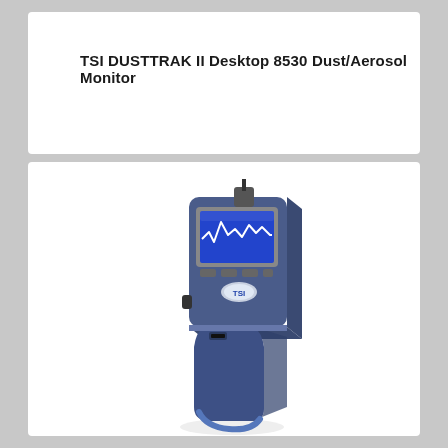TSI DUSTTRAK II Desktop 8530 Dust/Aerosol Monitor
[Figure (photo): Photo of the TSI DustTrak II Desktop 8530 Dust/Aerosol Monitor — a handheld blue aerosol monitor with a blue LCD screen showing a waveform graph, grey accents, and a TSI logo badge. The device has a pistol-grip style form factor.]